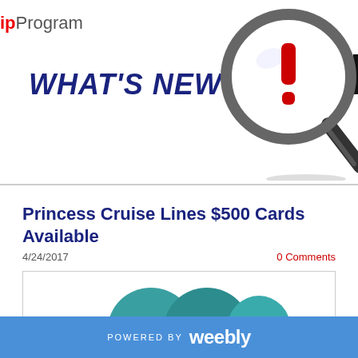ipProgram
WHAT'S NEW
[Figure (illustration): Magnifying glass with red exclamation mark and partial text 'NF' visible, representing an information/news alert graphic]
Princess Cruise Lines $500 Cards Available
4/24/2017
0 Comments
[Figure (illustration): Princess Cruises logo arches - teal/blue curved arches partially visible at bottom of article preview box]
POWERED BY weebly